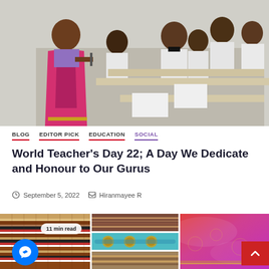[Figure (photo): A teacher in a pink/red saree standing in a classroom while uniformed male students in white shirts and black ties sit at desks writing]
BLOG
EDITOR PICK
EDUCATION
SOCIAL
World Teacher's Day 22; A Day We Dedicate and Honour to Our Gurus
September 5, 2022   Hiranmayee R
[Figure (photo): Collage of textile/fabric images and a messenger chat button with '11 min read' badge]
[Figure (photo): Pink/red silk fabric close-up with scroll-to-top button]